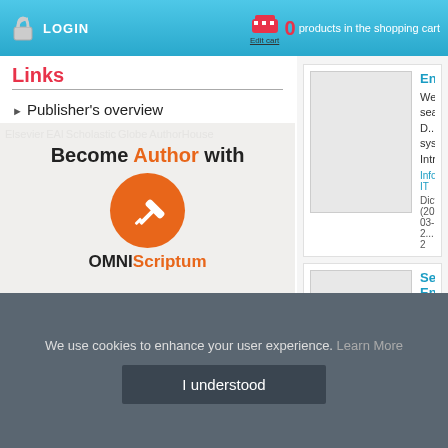LOGIN | 0 products in the shopping cart | Edit cart
Links
Publisher's overview
Group Deals
Bestsellers
Our Distributors
[Figure (illustration): Become Author with OMNIScriptum promotional banner with orange circle pencil logo]
[Figure (other): Product card: Enterprise [title cut off], Web search, D... systems, Intra... | Informatics, IT | Dict (2011-03-2... | 2]
[Figure (other): Product card: Search Eng[ine - title cut off], Search engine... engine optimiz... | Internet | Fec Publishing ( | 613-4-99780-5]
We use cookies to enhance your user experience. Learn More
I understood